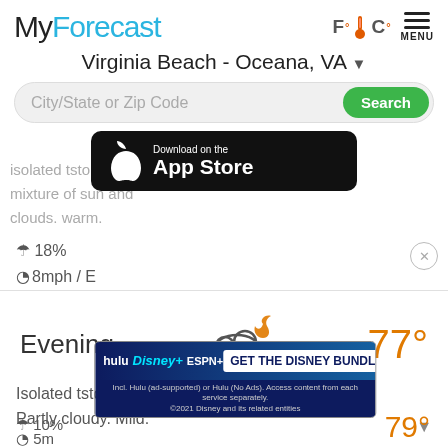MyForecast
Virginia Beach - Oceana, VA
City/State or Zip Code
[Figure (screenshot): Download on the App Store badge overlay]
isolated tstorms. a mixture of sun and clouds. warm.
18%
8mph / E
Evening
[Figure (illustration): Night cloud with lightning bolt weather icon]
77°
Isolated tstorms.
Partly cloudy. Mild.
10%
5m...
[Figure (screenshot): GET THE DISNEY BUNDLE advertisement banner with Hulu, Disney+, ESPN+ logos]
79°